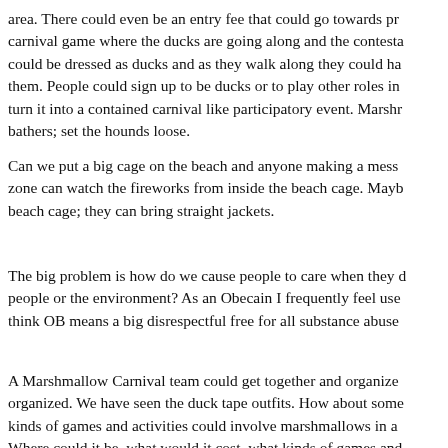area. There could even be an entry fee that could go towards pri carnival game where the ducks are going along and the contesta could be dressed as ducks and as they walk along they could ha them. People could sign up to be ducks or to play other roles in turn it into a contained carnival like participatory event. Marshr bathers; set the hounds loose.
Can we put a big cage on the beach and anyone making a mess zone can watch the fireworks from inside the beach cage. Mayb beach cage; they can bring straight jackets.
The big problem is how do we cause people to care when they d people or the environment? As an Obecain I frequently feel use think OB means a big disrespectful free for all substance abuse
A Marshmallow Carnival team could get together and organize organized. We have seen the duck tape outfits. How about some kinds of games and activities could involve marshmallows in a Where could it be, what would it cost, what kinds of games and